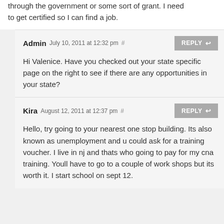through the government or some sort of grant. I need to get certified so I can find a job.
Admin July 10, 2011 at 12:32 pm #
Hi Valenice. Have you checked out your state specific page on the right to see if there are any opportunities in your state?
Kira August 12, 2011 at 12:37 pm #
Hello, try going to your nearest one stop building. Its also known as unemployment and u could ask for a training voucher. I live in nj and thats who going to pay for my cna training. Youll have to go to a couple of work shops but its worth it. I start school on sept 12.